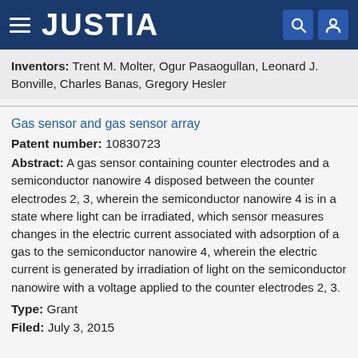JUSTIA
Inventors: Trent M. Molter, Ogur Pasaogullan, Leonard J. Bonville, Charles Banas, Gregory Hesler
Gas sensor and gas sensor array
Patent number: 10830723
Abstract: A gas sensor containing counter electrodes and a semiconductor nanowire 4 disposed between the counter electrodes 2, 3, wherein the semiconductor nanowire 4 is in a state where light can be irradiated, which sensor measures changes in the electric current associated with adsorption of a gas to the semiconductor nanowire 4, wherein the electric current is generated by irradiation of light on the semiconductor nanowire with a voltage applied to the counter electrodes 2, 3.
Type: Grant
Filed: July 3, 2015